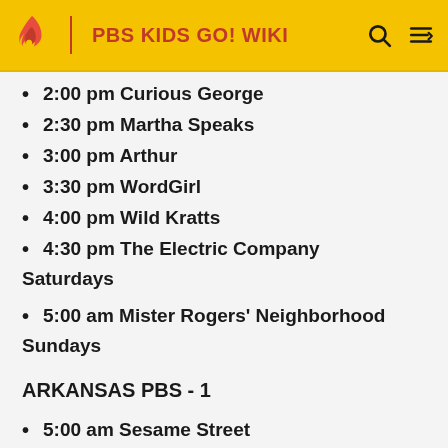PBS KIDS GO! WIKI
2:00 pm Curious George
2:30 pm Martha Speaks
3:00 pm Arthur
3:30 pm WordGirl
4:00 pm Wild Kratts
4:30 pm The Electric Company
Saturdays
5:00 am Mister Rogers' Neighborhood
Sundays
ARKANSAS PBS - 1
5:00 am Sesame Street
6:00 am Curious George
6:30 am The Cat in the Hat Knows a Lot About...